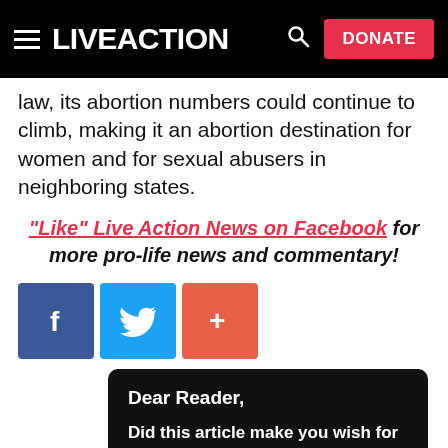LIVE ACTION | DONATE
law, its abortion numbers could continue to climb, making it an abortion destination for women and for sexual abusers in neighboring states.
"Like" Live Action News on Facebook for more pro-life news and commentary!
[Figure (other): Social share buttons: Facebook (blue), Twitter (light blue), Plus/share (orange-red)]
Dear Reader,
Did this article make you wish for an end to abortion? If so, there's something urgent that you need to know...
Roe v. Wade is history; however, abortion remains completely